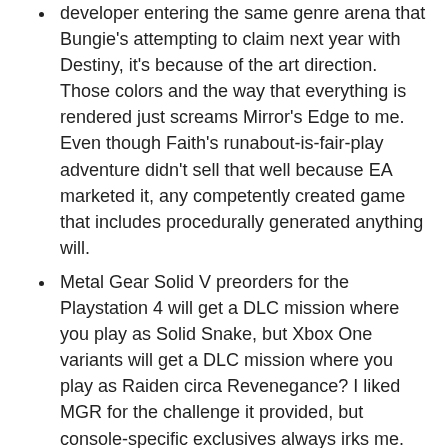developer entering the same genre arena that Bungie's attempting to claim next year with Destiny, it's because of the art direction. Those colors and the way that everything is rendered just screams Mirror's Edge to me. Even though Faith's runabout-is-fair-play adventure didn't sell that well because EA marketed it, any competently created game that includes procedurally generated anything will.
Metal Gear Solid V preorders for the Playstation 4 will get a DLC mission where you play as Solid Snake, but Xbox One variants will get a DLC mission where you play as Raiden circa Revenegance? I liked MGR for the challenge it provided, but console-specific exclusives always irks me. I've thought twice about buying a Xbox One lately, and if this sort of polarity becomes a trend, it will only add more complexity to making a decision.